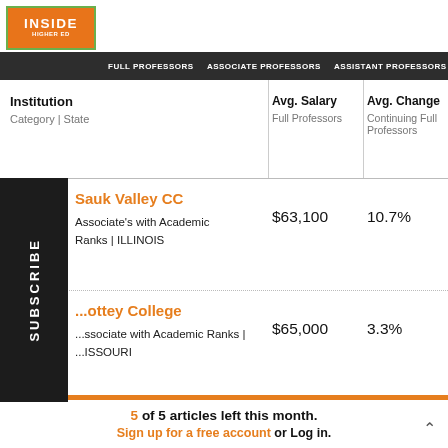[Figure (logo): Inside Higher Ed logo - orange box with green border]
FULL PROFESSORS | ASSOCIATE PROFESSORS | ASSISTANT PROFESSORS | CAREERS
| Institution
Category | State | Avg. Salary
Full Professors | Avg. Change
Continuing Full Professors |  |
| --- | --- | --- | --- |
| Sauk Valley CC
Associate's with Academic Ranks | ILLINOIS | $63,100 | 10.7% |  |
| ...ottey College
Associate with Academic Ranks | MISSOURI | $65,000 | 3.3% |  |
| Kaskaskia College |  |  |  |
5 of 5 articles left this month. Sign up for a free account or Log in.